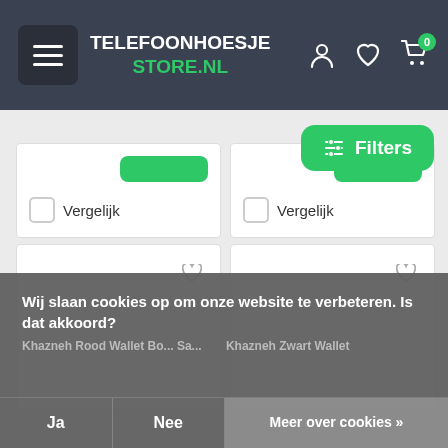TELEFOONHOESJE STORE.NL
Filters
Vergelijk
Vergelijk
[Figure (screenshot): Two product card placeholders with heart icons]
Khazneh Rood Wallet Bo... Sa...
Khazneh Zwart Wallet
Wij slaan cookies op om onze website te verbeteren. Is dat akkoord?
Ja
Nee
Meer over cookies »